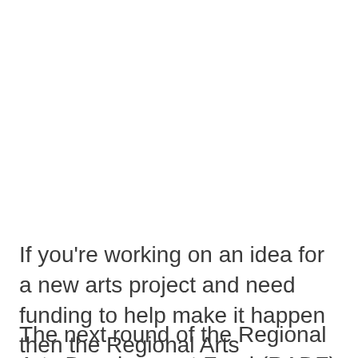If you're working on an idea for a new arts project and need funding to help make it happen then the Regional Arts Development Fund (RADF) may be able to help.
The next round of the Regional Arts Development Fund (RADF) is open and